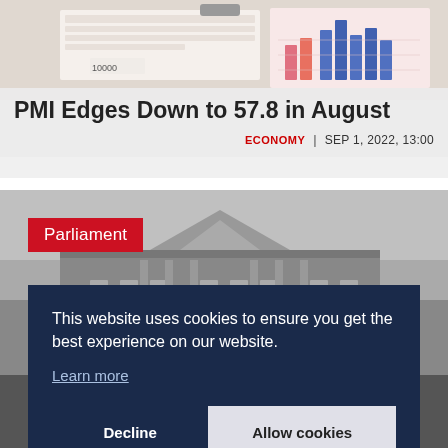[Figure (photo): Top banner photo showing financial charts with bar graphs and a clipboard, pink and blue bars visible]
PMI Edges Down to 57.8 in August
ECONOMY  |  SEP 1, 2022, 13:00
[Figure (photo): Black and white photo of Parliament building with a red 'Parliament' tag overlay]
This website uses cookies to ensure you get the best experience on our website.
Learn more
Decline   Allow cookies